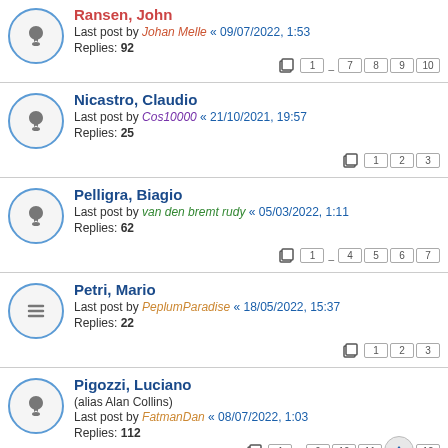Ransen, John — Last post by Johan Melle « 09/07/2022, 1:53 — Replies: 92 — Pages: 1...7 8 9 10
Nicastro, Claudio — Last post by Cos10000 « 21/10/2021, 19:57 — Replies: 25 — Pages: 1 2 3
Pelligra, Biagio — Last post by van den bremt rudy « 05/03/2022, 1:11 — Replies: 62 — Pages: 1...4 5 6 7
Petri, Mario — Last post by PeplumParadise « 18/05/2022, 15:37 — Replies: 22 — Pages: 1 2 3
Pigozzi, Luciano (alias Alan Collins) — Last post by FatmanDan « 08/07/2022, 1:03 — Replies: 112 — Pages: 1...9 10 11 12
Partial row visible at bottom